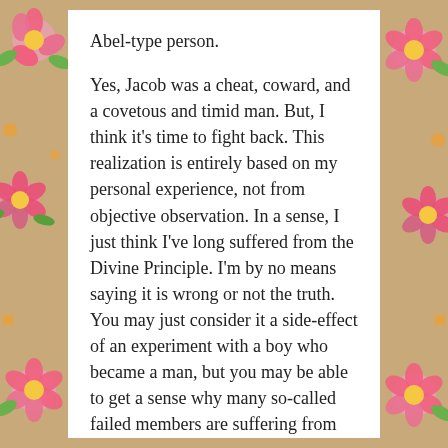Abel-type person.
Yes, Jacob was a cheat, coward, and a covetous and timid man. But, I think it's time to fight back. This realization is entirely based on my personal experience, not from objective observation. In a sense, I just think I've long suffered from the Divine Principle. I'm by no means saying it is wrong or not the truth. You may just consider it a side-effect of an experiment with a boy who became a man, but you may be able to get a sense why many so-called failed members are suffering from the Divine Principle.
When I look at myself who has lived for several decades as a second generation in Korea, I have been so eager to observe and apply the Divine